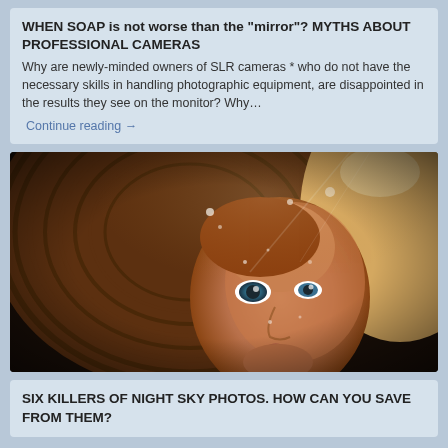WHEN SOAP is not worse than the "mirror"? MYTHS ABOUT PROFESSIONAL CAMERAS
Why are newly-minded owners of SLR cameras * who do not have the necessary skills in handling photographic equipment, are disappointed in the results they see on the monitor? Why...
Continue reading →
[Figure (photo): Close-up portrait photo of a young woman with blue eyes wearing a wide-brimmed hat, dramatic warm lighting]
SIX KILLERS OF NIGHT SKY PHOTOS. HOW CAN YOU SAVE FROM THEM?